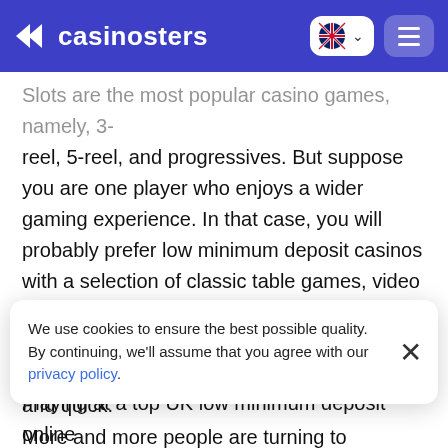casinosters
Slots are the most popular casino games, namely, 3-reel, 5-reel, and progressives. But suppose you are one player who enjoys a wider gaming experience. In that case, you will probably prefer low minimum deposit casinos with a selection of classic table games, video slots, and sportsbooks.
Choice of Payment Methods
Playing at a top UK low minimum deposit online
We use cookies to ensure the best possible quality. By continuing, we'll assume that you agree with our privacy policy.
and quick.
More and more people are turning to